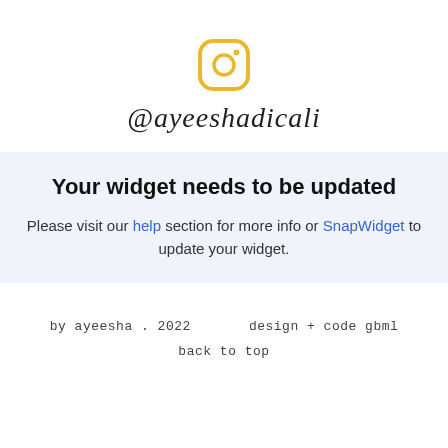[Figure (logo): Instagram logo icon in golden/yellow color]
@ayeeshadicali
Your widget needs to be updated
Please visit our help section for more info or SnapWidget to update your widget.
by ayeesha . 2022      design + code gbml

back to top